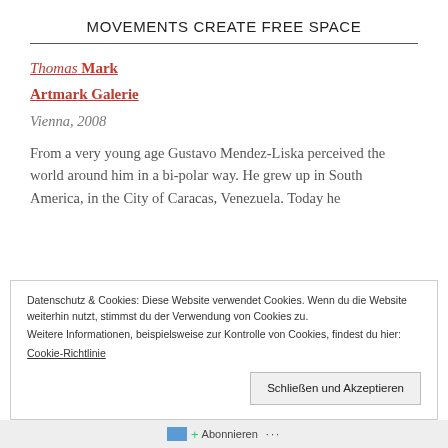MOVEMENTS CREATE FREE SPACE
Thomas Mark
Artmark Galerie
Vienna, 2008
From a very young age Gustavo Mendez-Liska perceived the world around him in a bi-polar way. He grew up in South America, in the City of Caracas, Venezuela. Today he
Datenschutz & Cookies: Diese Website verwendet Cookies. Wenn du die Website weiterhin nutzt, stimmst du der Verwendung von Cookies zu.
Weitere Informationen, beispielsweise zur Kontrolle von Cookies, findest du hier:
Cookie-Richtlinie
Schließen und Akzeptieren